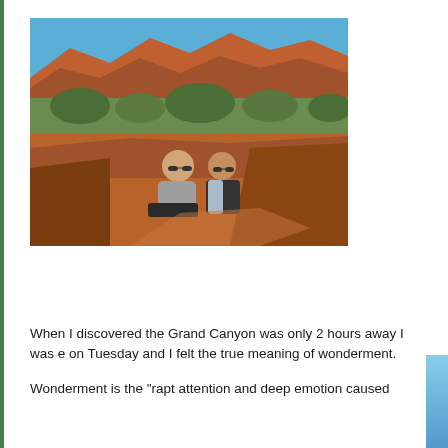[Figure (photo): Two people sitting on red rock formation in Sedona, Arizona with red rock canyon formations and blue sky in the background. Both wearing sunglasses.]
When I discovered the Grand Canyon was only 2 hours away I was e on Tuesday and I felt the true meaning of wonderment.
Wonderment is the "rapt attention and deep emotion caused